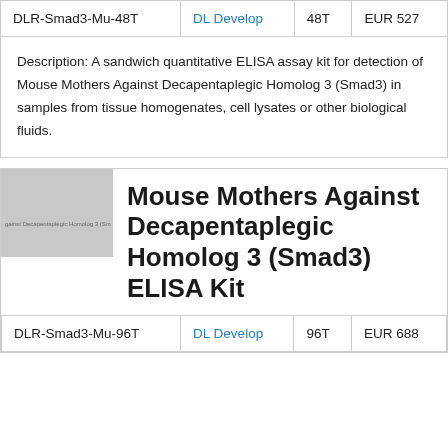|  |  |  |  |
| --- | --- | --- | --- |
| DLR-Smad3-Mu-48T | DL Develop | 48T | EUR 527 |
Description: A sandwich quantitative ELISA assay kit for detection of Mouse Mothers Against Decapentaplegic Homolog 3 (Smad3) in samples from tissue homogenates, cell lysates or other biological fluids.
[Figure (photo): Product thumbnail image showing Mouse Mothers Against Decapentaplegic Homolog 3 (Smad3) ELISA Kit packaging, gray placeholder image.]
Mouse Mothers Against Decapentaplegic Homolog 3 (Smad3) ELISA Kit
|  |  |  |  |
| --- | --- | --- | --- |
| DLR-Smad3-Mu-96T | DL Develop | 96T | EUR 688 |